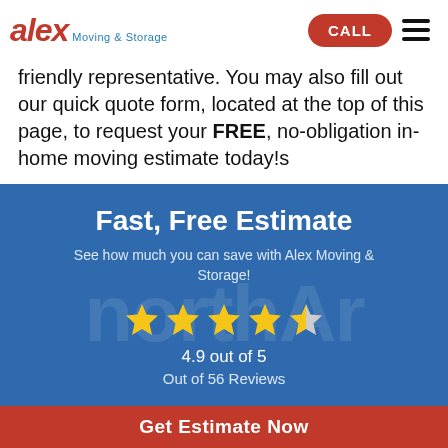alex Moving & Storage — CALL / menu
friendly representative. You may also fill out our quick quote form, located at the top of this page, to request your FREE, no-obligation in-home moving estimate today!s
[Figure (infographic): Blue banner with 'Fast, Free Estimate' heading, subtext 'See how much you can save with Alex Moving & Storage!', 4.9/5 star rating display showing 4 full stars and 1 half star, '4.9 out of 5', 'Out of 56 Reviews']
Get Estimate Now